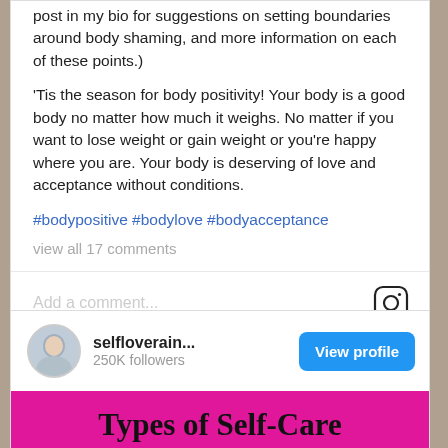post in my bio for suggestions on setting boundaries around body shaming, and more information on each of these points.)
'Tis the season for body positivity! Your body is a good body no matter how much it weighs. No matter if you want to lose weight or gain weight or you're happy where you are. Your body is deserving of love and acceptance without conditions.
#bodypositive #bodylove #bodyacceptance
view all 17 comments
Add a comment...
selfloverain...
250K followers
View profile
[Figure (infographic): Types of Self-Care infographic with pink background showing categories: Physical, Emotional, Social, Spiritual]